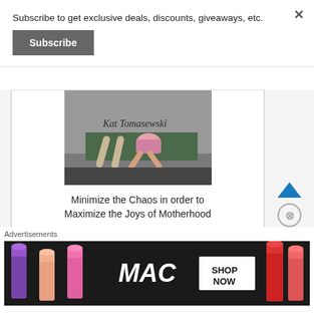Subscribe to get exclusive deals, discounts, giveaways, etc.
Subscribe
[Figure (photo): Photo of a child doing yoga or gymnastics on a mat, with text 'Kat Tomasewski' overlaid]
Minimize the Chaos in order to Maximize the Joys of Motherhood
Advertisements
[Figure (photo): MAC cosmetics advertisement showing lipsticks and SHOP NOW text]